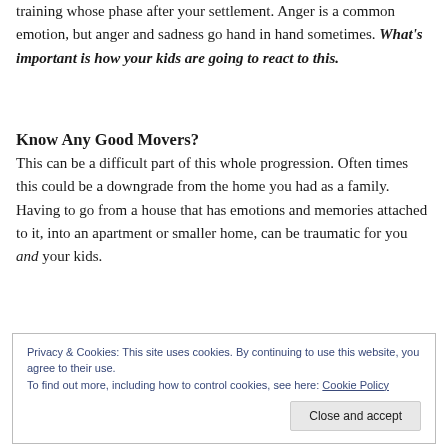training whose phase after your settlement. Anger is a common emotion, but anger and sadness go hand in hand sometimes. What's important is how your kids are going to react to this.
Know Any Good Movers?
This can be a difficult part of this whole progression. Often times this could be a downgrade from the home you had as a family. Having to go from a house that has emotions and memories attached to it, into an apartment or smaller home, can be traumatic for you and your kids.
Privacy & Cookies: This site uses cookies. By continuing to use this website, you agree to their use.
To find out more, including how to control cookies, see here: Cookie Policy
[Close and accept]